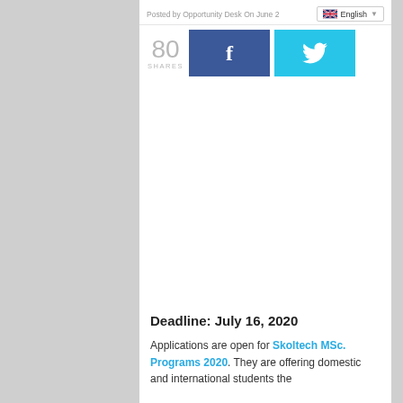Posted by Opportunity Desk On June [date]
[Figure (screenshot): Social share widget showing 80 SHARES with Facebook and Twitter share buttons, and an English language selector dropdown]
Deadline: July 16, 2020
Applications are open for Skoltech MSc. Programs 2020. They are offering domestic and international students the